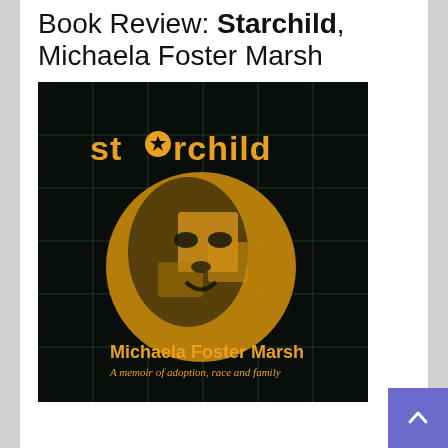Book Review: Starchild, Michaela Foster Marsh
[Figure (illustration): Book cover of 'Starchild' by Michaela Foster Marsh. Dark/black background with a yellow grid overlay. Title 'starchild' written in yellow with a star symbol replacing the 'a'. A stylized portrait of a child's face rendered in yellow tones occupies the center. Author name 'Michaela Foster Marsh' in yellow at the bottom, with subtitle 'A memoir of adoption, race and family' in italic script below.]